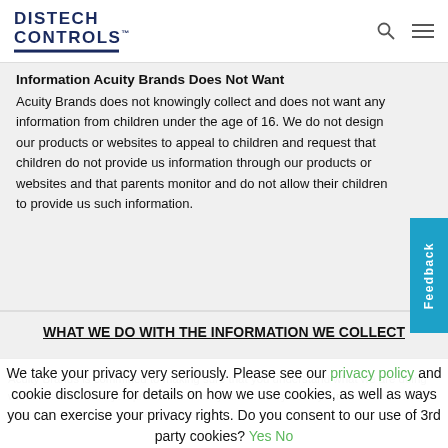DISTECH CONTROLS
Information Acuity Brands Does Not Want
Acuity Brands does not knowingly collect and does not want any information from children under the age of 16. We do not design our products or websites to appeal to children and request that children do not provide us information through our products or websites and that parents monitor and do not allow their children to provide us such information.
WHAT WE DO WITH THE INFORMATION WE COLLECT
We take your privacy very seriously. Please see our privacy policy and cookie disclosure for details on how we use cookies, as well as ways you can exercise your privacy rights. Do you consent to our use of 3rd party cookies? Yes No
Acuity Brands is committed to making sure that you understand what we are doing with the information you provide us. Acuity Brands only uses your information for legitimate business purposes such as: